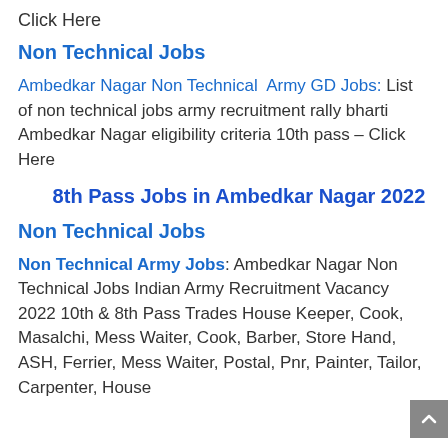Click Here
Non Technical Jobs
Ambedkar Nagar Non Technical Army GD Jobs: List of non technical jobs army recruitment rally bharti Ambedkar Nagar eligibility criteria 10th pass – Click Here
8th Pass Jobs in Ambedkar Nagar 2022
Non Technical Jobs
Non Technical Army Jobs: Ambedkar Nagar Non Technical Jobs Indian Army Recruitment Vacancy 2022 10th & 8th Pass Trades House Keeper, Cook, Masalchi, Mess Waiter, Cook, Barber, Store Hand, ASH, Ferrier, Mess Waiter, Postal, Pnr, Painter, Tailor, Carpenter, House